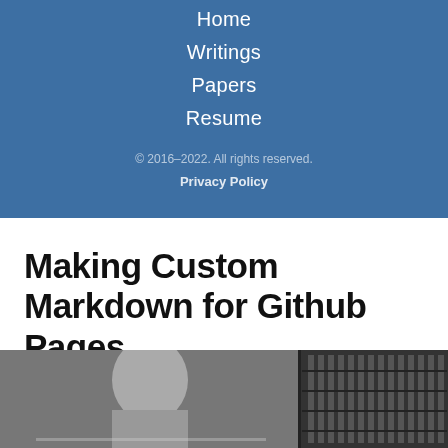Home
Writings
Papers
Resume
© 2016–2022. All rights reserved.
Privacy Policy
Making Custom Markdown for Github Pages
#software-development
[Figure (photo): Black and white photograph of a person sitting at what appears to be a computer or technical equipment, with server racks or equipment visible on the right side]